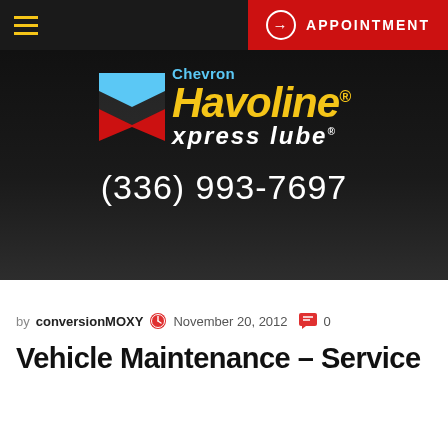APPOINTMENT
[Figure (logo): Chevron Havoline xpress lube logo with phone number (336) 993-7697 on dark background]
by conversionMOXY  November 20, 2012  0
Vehicle Maintenance – Service